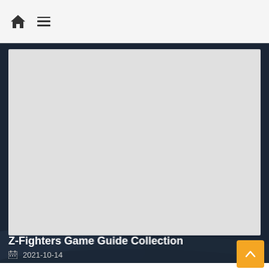🏠 ☰
[Figure (photo): Main hero image placeholder — light gray rectangle representing a game screenshot or promotional image for Z-Fighters Game Guide Collection]
Z-Fighters Game Guide Collection
2021-10-14
These are the guidelines for cooperative games published on website. The guidelines is divided into three parts: Gameplay, Train, and Heroes Guide. Will continue to update, welcome players to